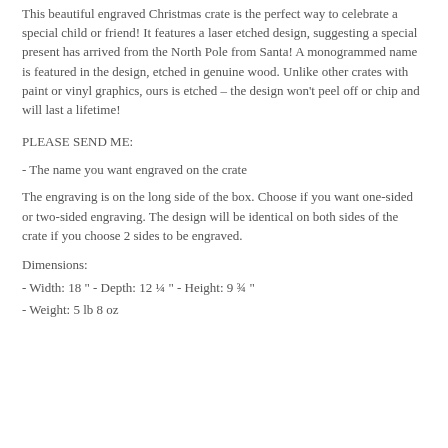This beautiful engraved Christmas crate is the perfect way to celebrate a special child or friend! It features a laser etched design, suggesting a special present has arrived from the North Pole from Santa! A monogrammed name is featured in the design, etched in genuine wood. Unlike other crates with paint or vinyl graphics, ours is etched – the design won't peel off or chip and will last a lifetime!
PLEASE SEND ME:
- The name you want engraved on the crate
The engraving is on the long side of the box. Choose if you want one-sided or two-sided engraving. The design will be identical on both sides of the crate if you choose 2 sides to be engraved.
Dimensions:
- Width: 18 " - Depth: 12 ¼ " - Height: 9 ¾ "
- Weight: 5 lb 8 oz